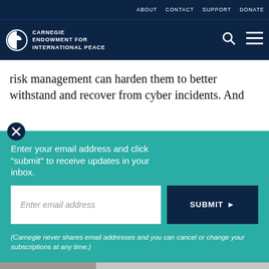ABOUT   CONTACT   SUPPORT   DONATE
[Figure (logo): Carnegie Endowment for International Peace logo with circular icon and white text on dark navy background]
risk management can harden them to better withstand and recover from cyber incidents. And
[Figure (screenshot): Email subscription popup overlay with teal background. Text: 'Enter your email address and click "submit" to receive updates in your inbox.' Email input field with placeholder 'Enter email address'. Submit button in navy blue. Footnote: '(Carnegie never shares email addresses and you can cancel or change your subscriptions at any time.)']
Share icons: print, link, facebook, twitter, whatsapp, messenger, linkedin